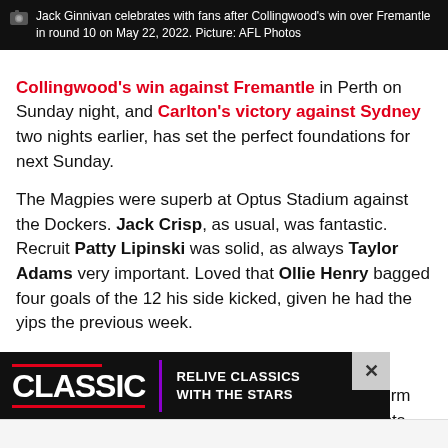[Figure (photo): Photo caption bar showing Jack Ginnivan celebrates with fans after Collingwood's win over Fremantle in round 10 on May 22, 2022. Picture: AFL Photos]
Jack Ginnivan celebrates with fans after Collingwood's win over Fremantle in round 10 on May 22, 2022. Picture: AFL Photos
Collingwood's win against Fremantle in Perth on Sunday night, and Carlton's victory against Sydney two nights earlier, has set the perfect foundations for next Sunday.
The Magpies were superb at Optus Stadium against the Dockers. Jack Crisp, as usual, was fantastic. Recruit Patty Lipinski was solid, as always Taylor Adams very important. Loved that Ollie Henry bagged four goals of the 12 his side kicked, given he had the yips the previous week.
>> CLICK HERE TO READ MORE BARRETT
The win squared Collingwood's 2022 ledger. Its form has been good – wins in the first two rounds (Saints, Crows), wins in rounds 6-7 (Bombers, Suns), and against the Dockers on
[Figure (screenshot): CLASSIC advertisement banner: RELIVE CLASSICS WITH THE STARS, with purple accent and close button]